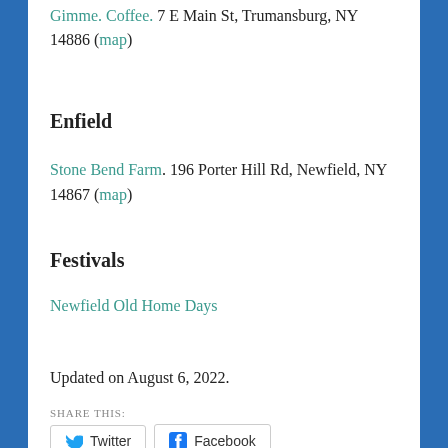Gimme. Coffee. 7 E Main St, Trumansburg, NY 14886 (map)
Enfield
Stone Bend Farm. 196 Porter Hill Rd, Newfield, NY 14867 (map)
Festivals
Newfield Old Home Days
Updated on August 6, 2022.
SHARE THIS:
Twitter  Facebook